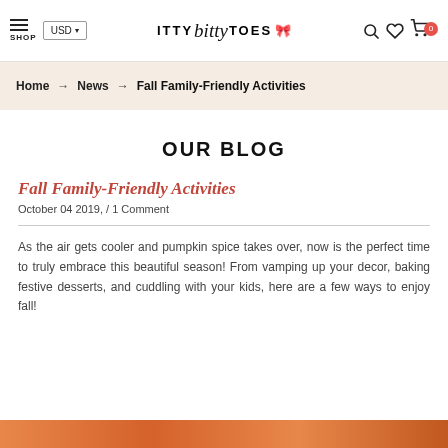ITTY bitty TOES — Shop, USD, search, wishlist, cart
Home → News → Fall Family-Friendly Activities
OUR BLOG
Fall Family-Friendly Activities
October 04 2019, / 1 Comment
As the air gets cooler and pumpkin spice takes over, now is the perfect time to truly embrace this beautiful season! From vamping up your decor, baking festive desserts, and cuddling with your kids, here are a few ways to enjoy fall!
[Figure (photo): Bottom edge of image strip, warm orange/red tones]